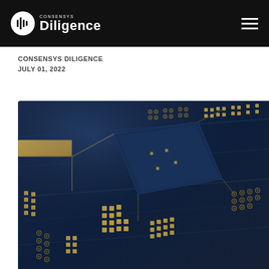Consensys Diligence
CONSENSYS DILIGENCE
JULY 01, 2022
[Figure (photo): Close-up macro photograph of a blue circuit board with gold solder pads, traces, and electronic components including chips and vias, shot from an angled perspective.]